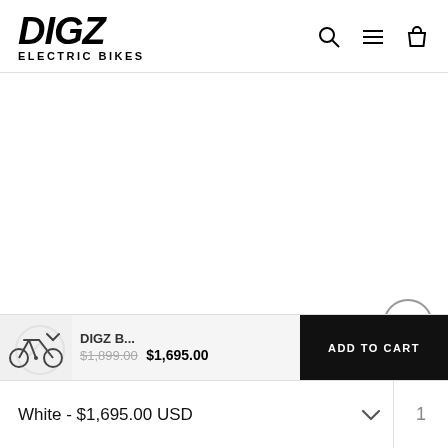DIGZ ELECTRIC BIKES
[Figure (screenshot): Empty white product image area for DIGZ electric bike product page]
[Figure (illustration): Scroll-to-top chevron button, circle outline with upward caret]
[Figure (photo): Small thumbnail of DIGZ electric bike (folding style, dark color)]
DIGZ B... $1,899.00 $1,695.00
ADD TO CART
White - $1,695.00 USD